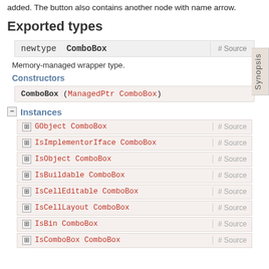added. The button also contains another node with name arrow.
Exported types
| newtype  ComboBox | # Source |
| --- | --- |
Memory-managed wrapper type.
Constructors
ComboBox (ManagedPtr ComboBox)
− Instances
⊞ GObject ComboBox  # Source
⊞ IsImplementorIface ComboBox  # Source
⊞ IsObject ComboBox  # Source
⊞ IsBuildable ComboBox  # Source
⊞ IsCellEditable ComboBox  # Source
⊞ IsCellLayout ComboBox  # Source
⊞ IsBin ComboBox  # Source
⊞ IsComboBox ComboBox  # Source